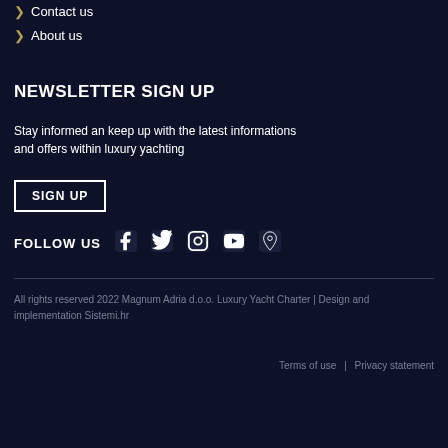Contact us
About us
NEWSLETTER SIGN UP
Stay informed an keep up with the latest informations and offers within luxury yachting
SIGN UP
FOLLOW US
All rights reserved 2022 Magnum Adria d.o.o. Luxury Yacht Charter | Design and implementation Sistemi.hr
Terms of use | Privacy statement